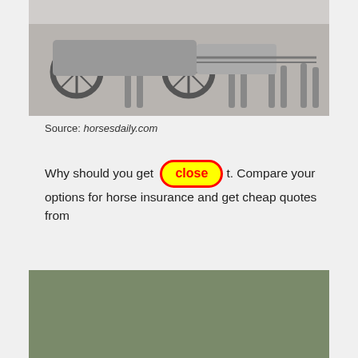[Figure (photo): Black and white photograph showing multiple horses pulling a carriage or cart, only the legs and lower body visible]
Source: horsesdaily.com
Why should you get [close button] t. Compare your options for horse insurance and get cheap quotes from
[Figure (photo): Color photograph of a road scene with trees and a bridge, partially covered by a large yellow rectangle with red border (advertisement overlay). Bottom text reads HE S FAMILY]